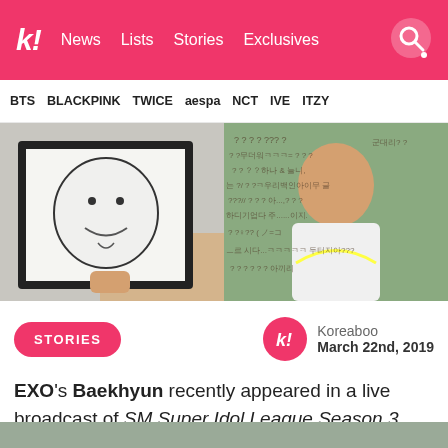k! News Lists Stories Exclusives
BTS BLACKPINK TWICE aespa NCT IVE ITZY
[Figure (photo): Two side-by-side video stills: left shows a person holding up a framed drawing of a cartoon face; right shows a person in a white T-shirt with Korean text question marks overlaid on the image.]
STORIES
Koreaboo March 22nd, 2019
EXO's Baekhyun recently appeared in a live broadcast of SM Super Idol League Season 3, where he played a game of Battlegrounds.
[Figure (photo): Bottom partial image strip visible at page bottom, gray/muted color.]